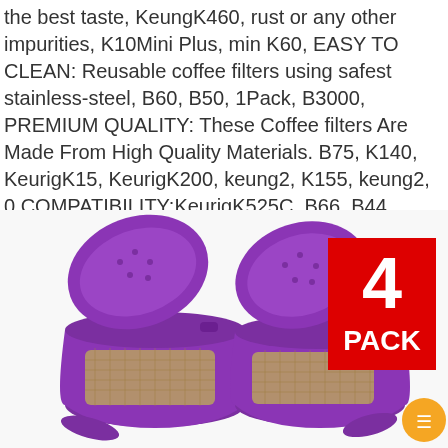the best taste, KeungK460, rust or any other impurities, K10Mini Plus, min K60, EASY TO CLEAN: Reusable coffee filters using safest stainless-steel, B60, B50, 1Pack, B3000, PREMIUM QUALITY: These Coffee filters Are Made From High Quality Materials. B75, K140, KeurigK15, KeurigK200, keung2, K155, keung2, 0 COMPATIBILITY:KeurigK525C, B66, B44.
[Figure (photo): Two purple reusable K-cup coffee filters with open lids showing gold mesh interiors, a red '4 PACK' badge in the upper right, and a small orange circle icon in the lower right]